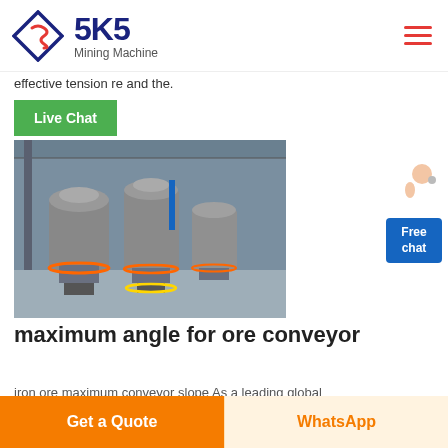SKS Mining Machine
effective tension re and the.
[Figure (screenshot): Green Live Chat button overlay on product photo of industrial grinding mill machines in a factory setting]
[Figure (photo): Industrial vertical grinding mill machines on factory floor]
[Figure (illustration): Free chat widget with person illustration and blue Free chat button]
maximum angle for ore conveyor
iron ore maximum conveyor slope As a leading global
Get a Quote
WhatsApp